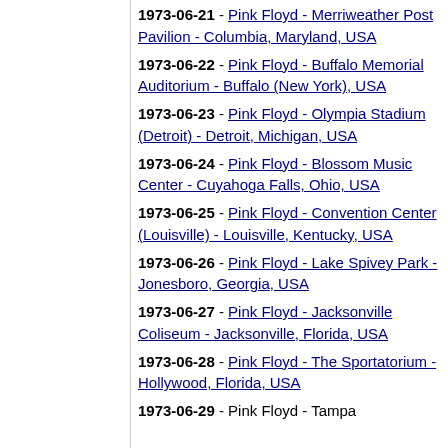1973-06-21 - Pink Floyd - Merriweather Post Pavilion - Columbia, Maryland, USA
1973-06-22 - Pink Floyd - Buffalo Memorial Auditorium - Buffalo (New York), USA
1973-06-23 - Pink Floyd - Olympia Stadium (Detroit) - Detroit, Michigan, USA
1973-06-24 - Pink Floyd - Blossom Music Center - Cuyahoga Falls, Ohio, USA
1973-06-25 - Pink Floyd - Convention Center (Louisville) - Louisville, Kentucky, USA
1973-06-26 - Pink Floyd - Lake Spivey Park - Jonesboro, Georgia, USA
1973-06-27 - Pink Floyd - Jacksonville Coliseum - Jacksonville, Florida, USA
1973-06-28 - Pink Floyd - The Sportatorium - Hollywood, Florida, USA
1973-06-29 - Pink Floyd - Tampa